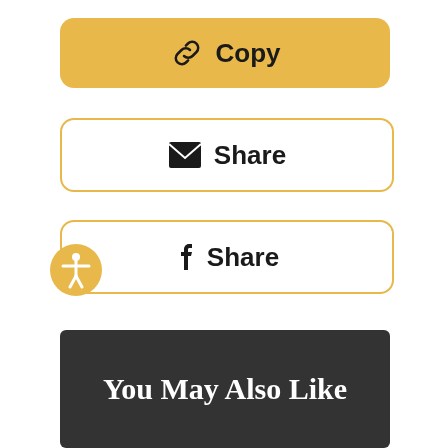[Figure (screenshot): Golden rounded button with chain link icon and text 'Copy']
[Figure (screenshot): White rounded button with email envelope icon and text 'Share']
[Figure (screenshot): White rounded button with Facebook 'f' icon and text 'Share']
[Figure (logo): Orange accessibility icon (person with arms outstretched in circle)]
You May Also Like